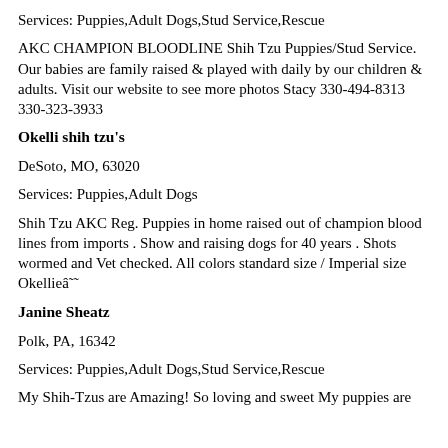Services: Puppies,Adult Dogs,Stud Service,Rescue
AKC CHAMPION BLOODLINE Shih Tzu Puppies/Stud Service. Our babies are family raised & played with daily by our children & adults. Visit our website to see more photos Stacy 330-494-8313 330-323-3933
Okelli shih tzu's
DeSoto, MO, 63020
Services: Puppies,Adult Dogs
Shih Tzu AKC Reg. Puppies in home raised out of champion blood lines from imports . Show and raising dogs for 40 years . Shots wormed and Vet checked. All colors standard size / Imperial size Okellieâ˜˜
Janine Sheatz
Polk, PA, 16342
Services: Puppies,Adult Dogs,Stud Service,Rescue
My Shih-Tzus are Amazing! So loving and sweet My puppies are